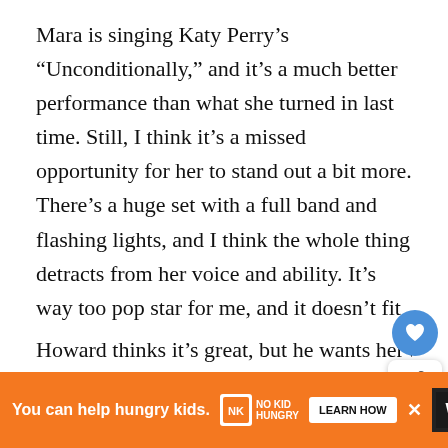Mara is singing Katy Perry's “Unconditionally,” and it’s a much better performance than what she turned in last time. Still, I think it’s a missed opportunity for her to stand out a bit more. There’s a huge set with a full band and flashing lights, and I think the whole thing detracts from her voice and ability. It’s way too pop star for me, and it doesn’t fit her show set. Still, she probably did enough to move to the semifinals.
[Figure (other): UI overlay: heart icon (blue circle) and share icon (white rounded box with share symbol and count '1'), and a 'What's Next' card with thumbnail and text 'Everything You Need to...']
Howard thinks it’s great, but he wants her to ta[ke it further]... [ahead] of
[Figure (other): Orange advertisement banner: 'You can help hungry kids.' with No Kid Hungry logo, 'LEARN HOW' button, and a close X button. Right side shows a dark icon with 'W' letter logo.]